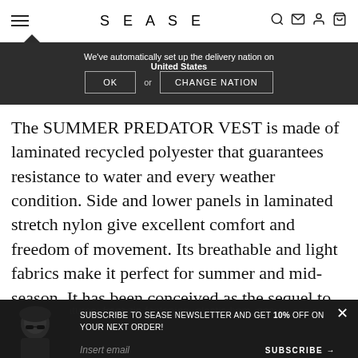SEASE
We've automatically set up the delivery nation on United States
The SUMMER PREDATOR VEST is made of laminated recycled polyester that guarantees resistance to water and every weather condition. Side and lower panels in laminated stretch nylon give excellent comfort and freedom of movement. Its breathable and light fabrics make it perfect for summer and mid-season. It has been conceived as the sequel to the iconic Predator Vest and it can be worn over a light outfit to protect from wind both in the city and in...
SUBSCRIBE TO SEASE NEWSLETTER AND GET 10% OFF ON YOUR NEXT ORDER!